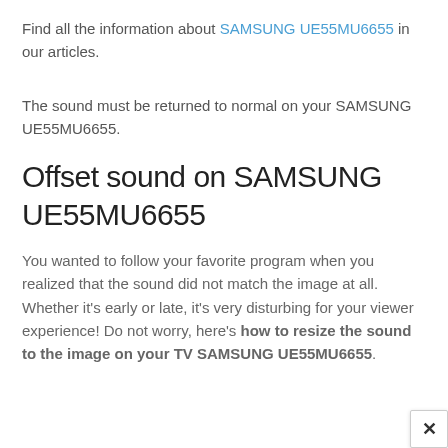Find all the information about SAMSUNG UE55MU6655 in our articles.
The sound must be returned to normal on your SAMSUNG UE55MU6655.
Offset sound on SAMSUNG UE55MU6655
You wanted to follow your favorite program when you realized that the sound did not match the image at all. Whether it’s early or late, it’s very disturbing for your viewer experience! Do not worry, here’s how to resize the sound to the image on your TV SAMSUNG UE55MU6655.